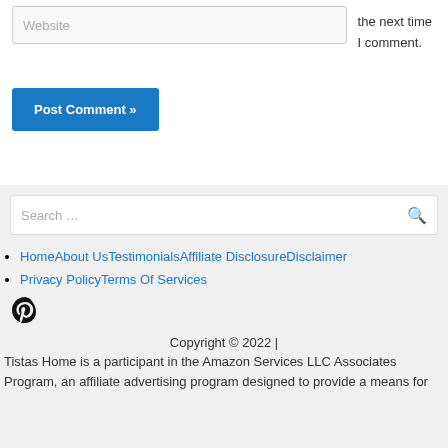Website
the next time I comment.
Post Comment »
Search …
HomeAbout UsTestimonialsAffiliate DisclosureDisclaimer
Privacy PolicyTerms Of Services
[Figure (logo): Pinterest icon]
Copyright © 2022 |
Tistas Home is a participant in the Amazon Services LLC Associates Program, an affiliate advertising program designed to provide a means for